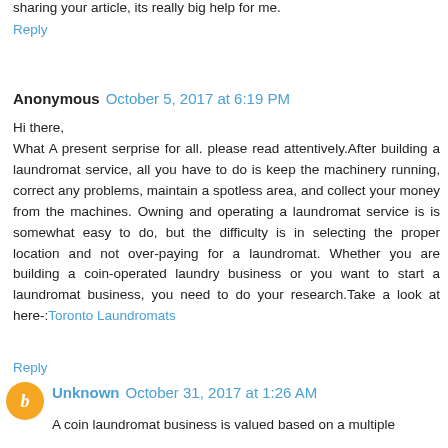sharing your article, its really big help for me.
Reply
Anonymous  October 5, 2017 at 6:19 PM
Hi there,
What A present serprise for all. please read attentively.After building a laundromat service, all you have to do is keep the machinery running, correct any problems, maintain a spotless area, and collect your money from the machines. Owning and operating a laundromat service is is somewhat easy to do, but the difficulty is in selecting the proper location and not over-paying for a laundromat. Whether you are building a coin-operated laundry business or you want to start a laundromat business, you need to do your research.Take a look at here-:Toronto Laundromats
Reply
Unknown  October 31, 2017 at 1:26 AM
A coin laundromat business is valued based on a multiple